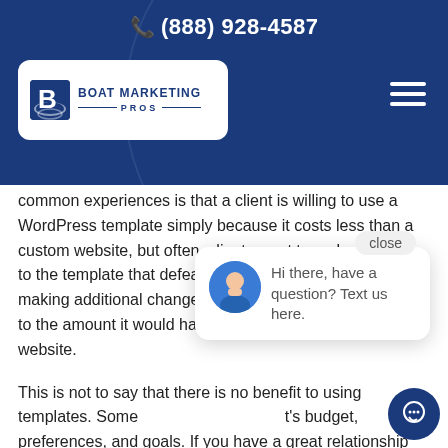(888) 928-4587
[Figure (logo): Boat Marketing Pros logo with stylized B and boat icon on white rounded rectangle, hamburger menu icon top right, on dark blue header background]
common experiences is that a client is willing to use a WordPress template simply because it costs less than a custom website, but often, clients want to make changes to the template that defeat the purpose of using it. By making additional changes, the end cost becomes close to the amount it would have taken to build a fully custom website.
This is not to say that there is no benefit to using templates. Some of it depends on the client's budget, preferences, and goals. If you have a great relationship with a web company that understands the limitations of using a WordPress template and makes you aware of those limitations while working through
[Figure (screenshot): Chat popup overlay with close button, avatar of a man in blue shirt, and text 'Hi there, have a question? Text us here.' with a blue circular chat button below]